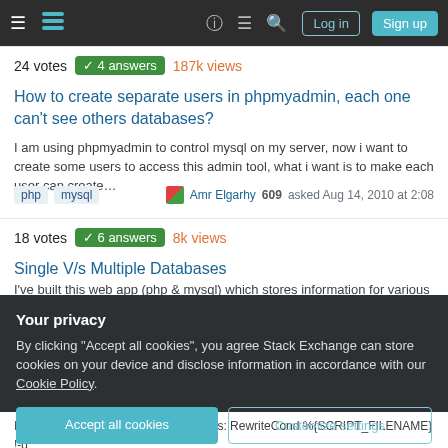Stack Exchange navigation bar with Log in and Sign up buttons
24 votes  ✓ 4 answers  187k views
How to create separate users in phpmyadmin, each one can't see others databases?
I am using phpmyadmin to control mysql on my server, now i want to create some users to access this admin tool, what i want is to make each user can create…
php  mysql   Amr Elgarhy 609 asked Aug 14, 2010 at 2:08
18 votes  ✓ 6 answers  8k views
Single V/s Multiple Databases
I've built this web app (php & mysql) which stores information for various
Your privacy

By clicking "Accept all cookies", you agree Stack Exchange can store cookies on your device and disclose information in accordance with our Cookie Policy.

Accept all cookies    Customize settings
I have an .htaccess rewrite rule like this: RewriteCond %{SCRIPT_FILENAME} !-d
RewriteCond %{HYSCRIPT_FILENAME} { Rewrite Rule Append !f{10... and 3